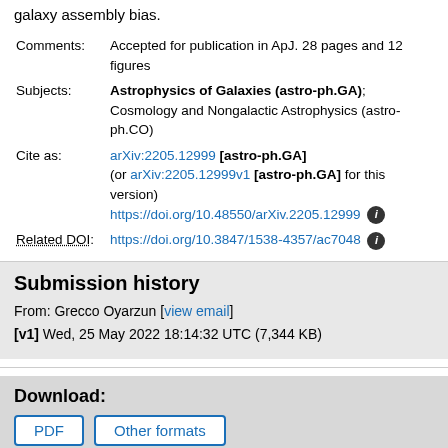galaxy assembly bias.
Comments: Accepted for publication in ApJ. 28 pages and 12 figures
Subjects: Astrophysics of Galaxies (astro-ph.GA); Cosmology and Nongalactic Astrophysics (astro-ph.CO)
Cite as: arXiv:2205.12999 [astro-ph.GA] (or arXiv:2205.12999v1 [astro-ph.GA] for this version) https://doi.org/10.48550/arXiv.2205.12999
Related DOI: https://doi.org/10.3847/1538-4357/ac7048
Submission history
From: Grecco Oyarzun [view email]
[v1] Wed, 25 May 2022 18:14:32 UTC (7,344 KB)
Download:
PDF
Other formats
(license)
Current browse context: astro-ph.GA